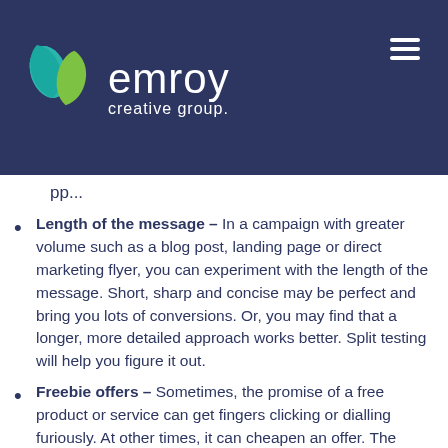[Figure (logo): Emroy Creative Group logo with teal and green leaf shapes and white text on dark navy background]
pp...
Length of the message – In a campaign with greater volume such as a blog post, landing page or direct marketing flyer, you can experiment with the length of the message. Short, sharp and concise may be perfect and bring you lots of conversions. Or, you may find that a longer, more detailed approach works better. Split testing will help you figure it out.
Freebie offers – Sometimes, the promise of a free product or service can get fingers clicking or dialling furiously. At other times, it can cheapen an offer. The same goes for 'limited time only deals.